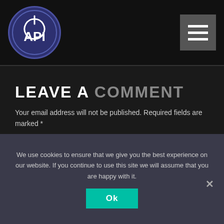API logo and hamburger menu
LEAVE A COMMENT
Your email address will not be published. Required fields are marked *
[Figure (screenshot): Comment text area input field with placeholder text 'Comment*']
We use cookies to ensure that we give you the best experience on our website. If you continue to use this site we will assume that you are happy with it.